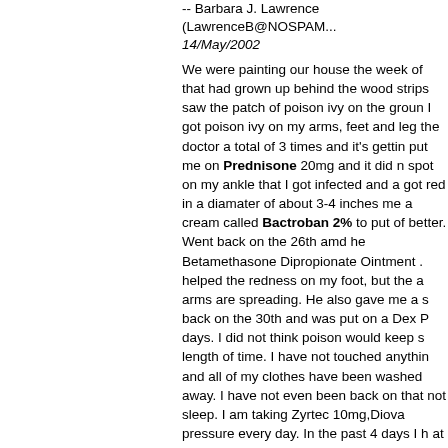-- Barbara J. Lawrence (LawrenceB@NOSPAM... 14/May/2002
We were painting our house the week of that had grown up behind the wood strips saw the patch of poison ivy on the groun I got poison ivy on my arms, feet and leg the doctor a total of 3 times and it's gettin put me on Prednisone 20mg and it did n spot on my ankle that I got infected and a got red in a diamater of about 3-4 inches me a cream called Bactroban 2% to put of better. Went back on the 26th amd he Betamethasone Dipropionate Ointment . helped the redness on my foot, but the a arms are spreading. He also gave me a s back on the 30th and was put on a Dex P days. I did not think poison would keep s length of time. I have not touched anythin and all of my clothes have been washed away. I have not even been back on that not sleep. I am taking Zyrtec 10mg,Diova pressure every day. In the past 4 days I h at night to help me sleep. Not working, I. the next step is going to the dermatologis poison this long and I am going crazy. It i